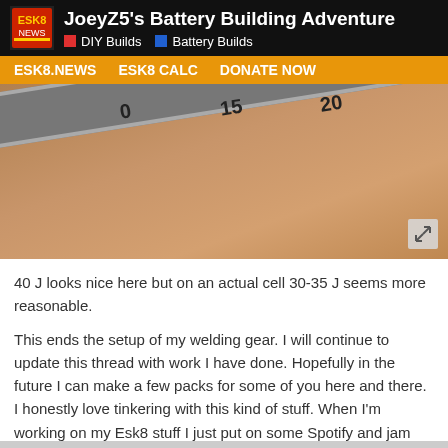JoeyZ5's Battery Building Adventure | DIY Builds | Battery Builds
ESK8.NEWS  ESK8 CALC  DONATE NOW
[Figure (photo): Close-up photograph of a metal ruler or measuring strip with markings at 0, 15, 20, placed over what appears to be a wooden surface or skin-toned material.]
40 J looks nice here but on an actual cell 30-35 J seems more reasonable.
This ends the setup of my welding gear. I will continue to update this thread with work I have done. Hopefully in the future I can make a few packs for some of you here and there. I honestly love tinkering with this kind of stuff. When I'm working on my Esk8 stuff I just put on some Spotify and jam while getting the feeling of building legos again like I'm a little kid again.
1 / 28